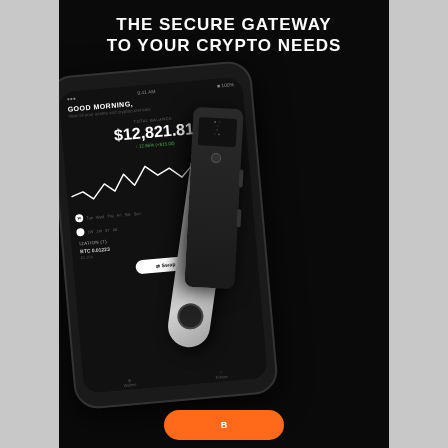THE SECURE GATEWAY TO YOUR CRYPTO NEEDS
[Figure (illustration): Product advertisement image showing a smartphone with a crypto wallet app displaying a balance of $12,821.81, alongside two hardware cryptocurrency wallets (a Ledger Nano and a larger device), all on a dark background.]
[Figure (other): Orange rounded button at the bottom of the advertisement page.]